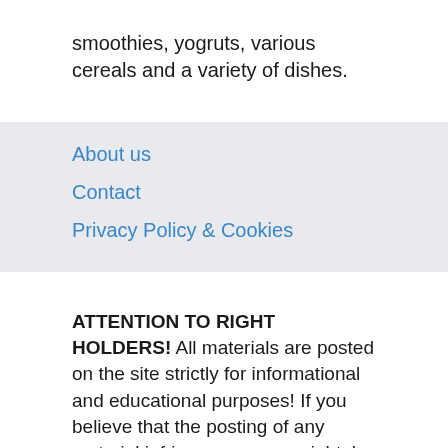smoothies, yogruts, various cereals and a variety of dishes.
About us
Contact
Privacy Policy & Cookies
ATTENTION TO RIGHT HOLDERS! All materials are posted on the site strictly for informational and educational purposes! If you believe that the posting of any material infringes your copyright, be sure to contact us through the contact form and your material will be removed!